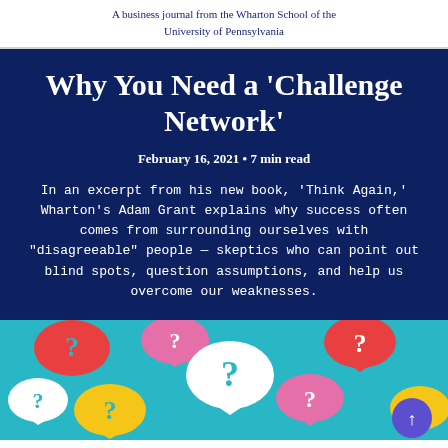A business journal from the Wharton School of the University of Pennsylvania
Why You Need a ‘Challenge Network’
February 16, 2021 • 7 min read
In an excerpt from his new book, ‘Think Again,’ Wharton’s Adam Grant explains why success often comes from surrounding ourselves with “disagreeable” people — skeptics who can point out blind spots, question assumptions, and help us overcome our weaknesses.
[Figure (illustration): Colorful speech bubbles with question marks on a teal background, representing a challenge network concept. A purple circular scroll-up button is visible in the bottom right.]